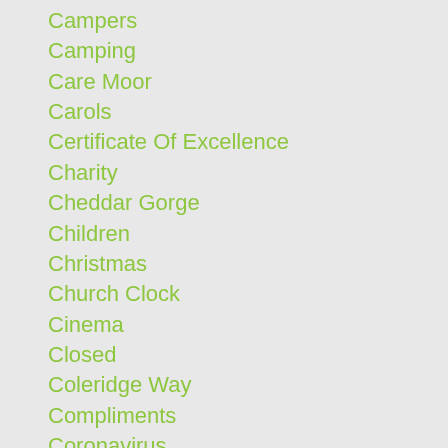Campers
Camping
Care Moor
Carols
Certificate Of Excellence
Charity
Cheddar Gorge
Children
Christmas
Church Clock
Cinema
Closed
Coleridge Way
Compliments
Coronavirus
Covid
Crabbing
Craft Fair
Credit Cards